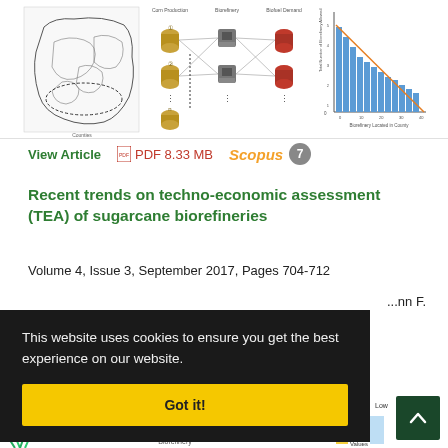[Figure (infographic): Three panel figure: left panel shows a geographic map with county boundaries, center panel shows a network/flow diagram with corn production, biorefinery, and biofuel demand nodes connected by lines, right panel shows a bar chart with a downward sloping orange line overlay titled 'Biorefinery Located in County']
View Article   PDF 8.33 MB   Scopus 7
Recent trends on techno-economic assessment (TEA) of sugarcane biorefineries
Volume 4, Issue 3, September 2017, Pages 704-712
...nn F.
This website uses cookies to ensure you get the best experience on our website.
Got it!